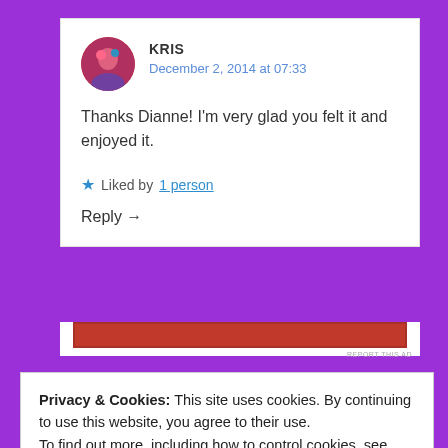KRIS
December 2, 2014 at 07:33
Thanks Dianne! I'm very glad you felt it and enjoyed it.
★ Liked by 1 person
Reply →
[Figure (other): Red advertisement banner]
REPORT THIS AD
Privacy & Cookies: This site uses cookies. By continuing to use this website, you agree to their use.
To find out more, including how to control cookies, see here:
Cookie Policy
Close and accept